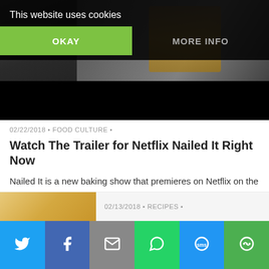This website uses cookies
OKAY
MORE INFO
[Figure (photo): Hero image of Netflix Nailed It show, darkened with black bar at bottom]
02/22/2018 • FOOD CULTURE •
Watch The Trailer for Netflix Nailed It Right Now
Nailed It is a new baking show that premieres on Netflix on the 9th of March, and this is a cooking show with a twist. Watch the Netflix Nailed It now. Netflix Nailed It is a new show that takes a new twist on food television. Forget all...
READ ARTICLE
[Figure (photo): Thumbnail image for second article]
02/13/2018 • RECIPES •
[Figure (infographic): Social share bar with Twitter, Facebook, Email, WhatsApp, SMS, and Other buttons]